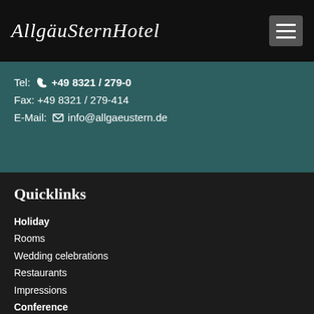[Figure (logo): AllgäuSternHotel script logo in white italic on black background]
Tel: +49 8321 / 279-0
Fax: +49 8321 / 279-414
E-Mail: info@allgaeustern.de
Quicklinks
Holiday
Rooms
Wedding celebrations
Restaurants
Impressions
Conference
Conference rooms
Arrangements